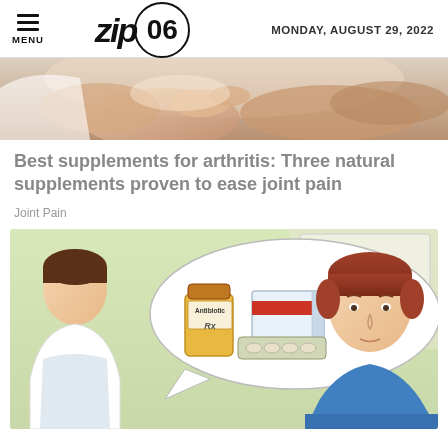MENU  zip06  MONDAY, AUGUST 29, 2022
[Figure (photo): Close-up photo of hands with joint/arthritis, showing someone touching or examining a hand or wrist area, with skin tones in warm beige/peach colors]
Best supplements for arthritis: Three natural supplements proven to ease joint pain
Joint Pain
[Figure (illustration): Cartoon-style illustration of a doctor speaking to a patient (man with red/auburn hair in blue shirt). A speech bubble shows an Antibiotic prescription bottle labeled 'Rx' and a blister pack of pills with a medication box with a red stripe.]